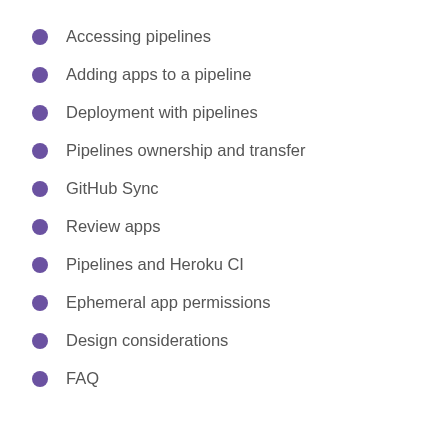Accessing pipelines
Adding apps to a pipeline
Deployment with pipelines
Pipelines ownership and transfer
GitHub Sync
Review apps
Pipelines and Heroku CI
Ephemeral app permissions
Design considerations
FAQ
A pipeline is a group of Heroku apps that share the same codebase. Each app in a pipeline represents one of the following stages in a continuous delivery workflow: